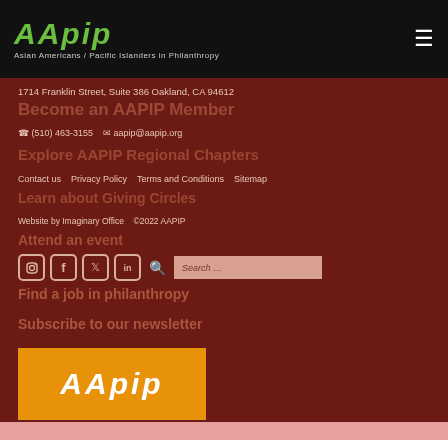AAPIP — Asian Americans / Pacific Islanders in Philanthropy
1714 Franklin Street, Suite 386 Oakland, CA 94612
Become an AAPIP Member
(510) 463-3155    aapip@aapip.org
Explore AAPIP Regional Chapters
Contact us   Privacy Policy   Terms and Conditions   Sitemap
Learn about Giving Circles
Website by Imaginary Office   ©2022 AAPIP
Attend an event
Find a job in philanthropy
Subscribe to our newsletter
[Figure (logo): AAPIP logo on orange background]